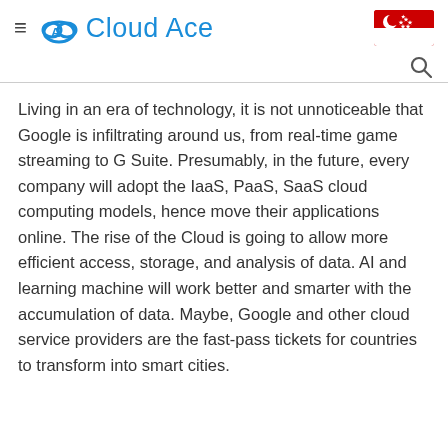Cloud Ace
Living in an era of technology, it is not unnoticeable that Google is infiltrating around us, from real-time game streaming to G Suite. Presumably, in the future, every company will adopt the IaaS, PaaS, SaaS cloud computing models, hence move their applications online. The rise of the Cloud is going to allow more efficient access, storage, and analysis of data. AI and learning machine will work better and smarter with the accumulation of data. Maybe, Google and other cloud service providers are the fast-pass tickets for countries to transform into smart cities.